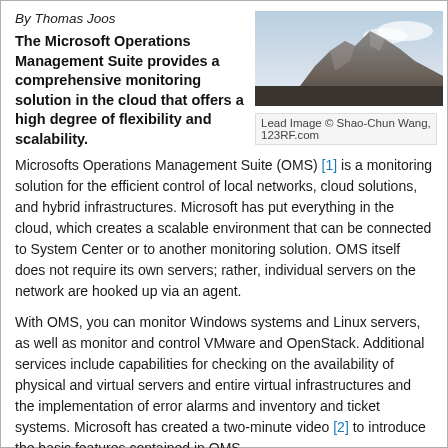By Thomas Joos
[Figure (photo): Lead image showing rocky mountain landscape with sky]
Lead Image © Shao-Chun Wang, 123RF.com
The Microsoft Operations Management Suite provides a comprehensive monitoring solution in the cloud that offers a high degree of flexibility and scalability.
Microsofts Operations Management Suite (OMS) [1] is a monitoring solution for the efficient control of local networks, cloud solutions, and hybrid infrastructures. Microsoft has put everything in the cloud, which creates a scalable environment that can be connected to System Center or to another monitoring solution. OMS itself does not require its own servers; rather, individual servers on the network are hooked up via an agent.
With OMS, you can monitor Windows systems and Linux servers, as well as monitor and control VMware and OpenStack. Additional services include capabilities for checking on the availability of physical and virtual servers and entire virtual infrastructures and the implementation of error alarms and inventory and ticket systems. Microsoft has created a two-minute video [2] to introduce the basic features contained in OMS.
Centralized Monitoring for Large and Small